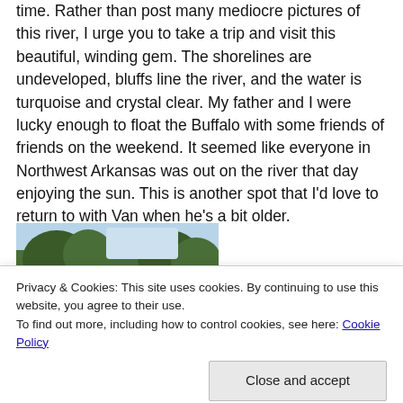time.  Rather than post many mediocre pictures of this river, I urge you to take a trip and visit this beautiful, winding gem.  The shorelines are undeveloped, bluffs line the river, and the water is turquoise and crystal clear.  My father and I were lucky enough to float the Buffalo with some friends of friends on the weekend.  It seemed like everyone in Northwest Arkansas was out on the river that day enjoying the sun.  This is another spot that I'd love to return to with Van when he's a bit older.
[Figure (photo): Outdoor nature photo showing trees and a river, partially cropped]
Privacy & Cookies: This site uses cookies. By continuing to use this website, you agree to their use.
To find out more, including how to control cookies, see here: Cookie Policy